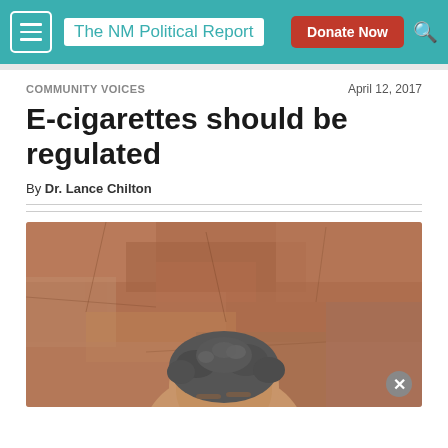The NM Political Report
COMMUNITY VOICES
April 12, 2017
E-cigarettes should be regulated
By Dr. Lance Chilton
[Figure (photo): Photo of Dr. Lance Chilton outdoors against a red rock wall background, showing the top of his head with grey curly hair]